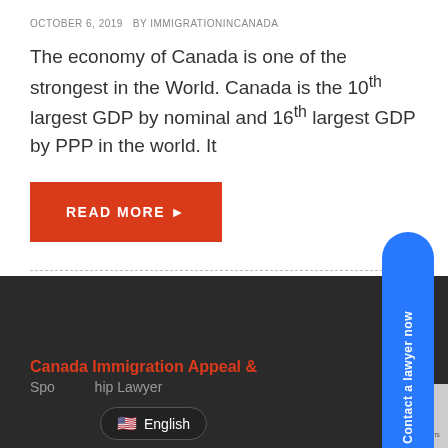OCTOBER 6, 2019   BY IMMIGRATIONINCANADA
The economy of Canada is one of the strongest in the World. Canada is the 10th largest GDP by nominal and 16th largest GDP by PPP in the world. It
[Figure (other): Red button with text READ MORE and arrow icon]
[Figure (other): Blue floating pill-shaped button on right side with text 'Contact a lawyer now' written vertically]
Canada Immigration Appeal & Sponsored Sponsorship Lawyer
English (language selector with US flag)
Privacy · Terms